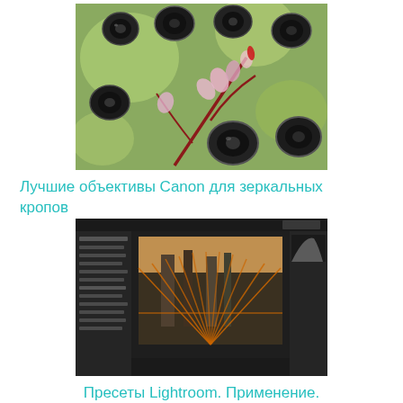[Figure (photo): Photo of multiple Canon camera lenses floating around a branch with pink flowers and blurred green background]
Лучшие объективы Canon для зеркальных кропов
[Figure (screenshot): Screenshot of Adobe Lightroom showing a photo of a bridge/railway with orange diagonal lines overlay, histogram panel visible on right]
Пресеты Lightroom. Применение.
[Figure (screenshot): Partial screenshot of another software interface, partially visible at bottom of page]